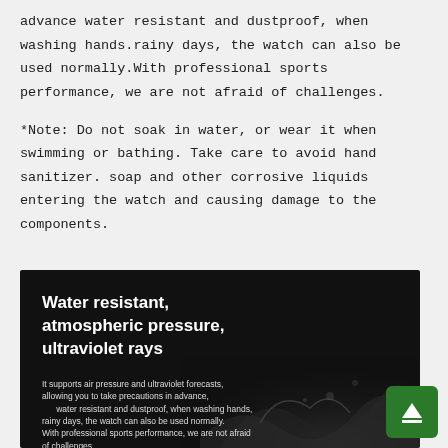advance water resistant and dustproof, when washing hands.rainy days, the watch can also be used normally.With professional sports performance, we are not afraid of challenges.
*Note: Do not soak in water, or wear it when swimming or bathing. Take care to avoid hand sanitizer. soap and other corrosive liquids entering the watch and causing damage to the components.
[Figure (photo): Dark promotional image for a water-resistant watch with bold white text 'Water resistant, atmospheric pressure, ultraviolet rays' and smaller descriptive text below, with a water splash graphic in the background.]